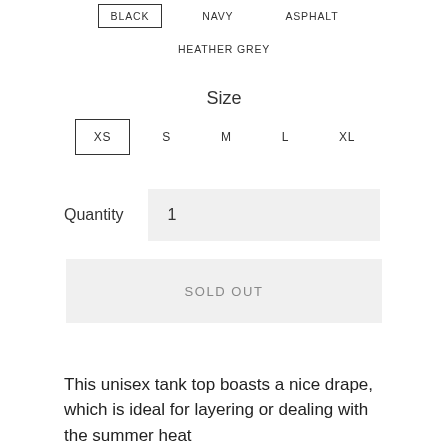BLACK (selected), NAVY, ASPHALT
HEATHER GREY
Size
XS (selected), S, M, L, XL
Quantity  1
SOLD OUT
This unisex tank top boasts a nice drape, which is ideal for layering or dealing with the summer heat